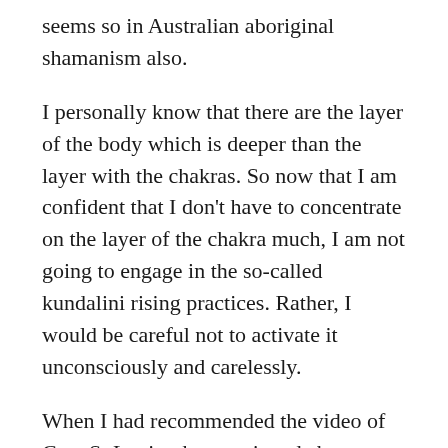seems so in Australian aboriginal shamanism also.
I personally know that there are the layer of the body which is deeper than the layer with the chakras. So now that I am confident that I don't have to concentrate on the layer of the chakra much, I am not going to engage in the so-called kundalini rising practices. Rather, I would be careful not to activate it unconsciously and carelessly.
When I had recommended the video of Cara St Louis, she mentioned about George Kavassilas. I had never knew him before, strange because he seems to be controversially famous in the